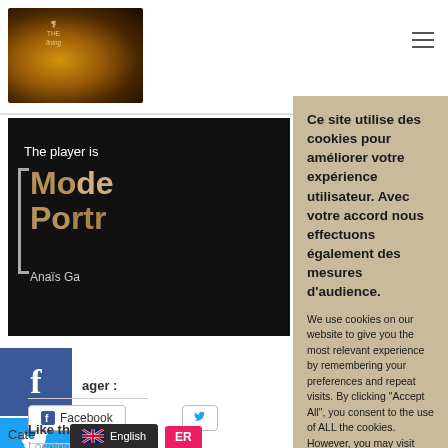[Figure (screenshot): Website header with logo image (violin/instrument on dark background) and hamburger menu icon top right]
[Figure (screenshot): Video thumbnail showing dark background with text 'The player is', stylized title 'Mode Portr' and 'Anaïs Ga' subtitle]
[Figure (screenshot): Facebook and Twitter social share buttons on left side, partager label and share buttons]
Ce site utilise des cookies pour améliorer votre expérience utilisateur. Avec votre accord nous effectuons également des mesures d'audience.
We use cookies on our website to give you the most relevant experience by remembering your preferences and repeat visits. By clicking "Accept All", you consent to the use of ALL the cookies. However, you may visit "Cookie Settings" to provide a controlled consent.
Cookie Settings
Accept All
English
Like this:
Loading...
Cate